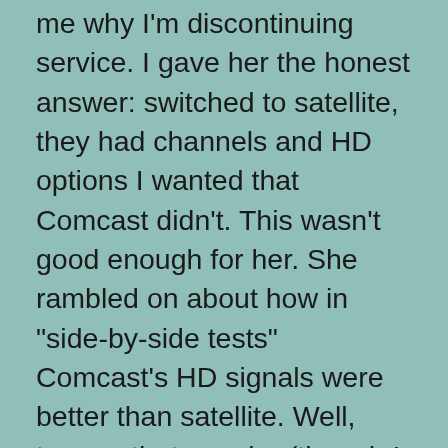me why I'm discontinuing service.  I gave her the honest answer: switched to satellite, they had channels and HD options I wanted that Comcast didn't.  This wasn't good enough for her.  She rambled on about how in "side-by-side tests" Comcast's HD signals were better than satellite.  Well, true as that may be (though I can't tell a difference), I will say that in my side-by-side test that FoodTV in HD looks better than FoodTV on Comcast, which isn't HD.  Oh, and NASA TV isn't available on Comcast.
She...